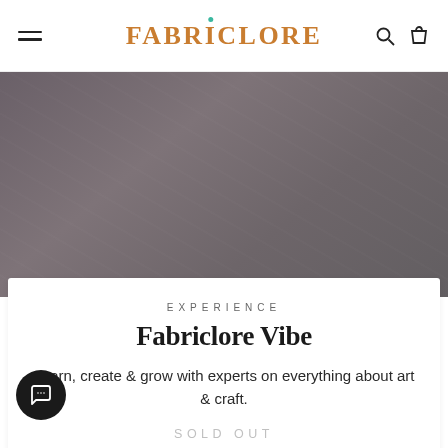[Figure (logo): Fabriclore brand logo in orange/brown color with teal dot accent on the letter i, displayed in the navigation bar]
[Figure (photo): Muted gray-purple hero background image, possibly showing fabric textures in desaturated tones]
EXPERIENCE
Fabriclore Vibe
Learn, create & grow with experts on everything about art & craft.
SOLD OUT